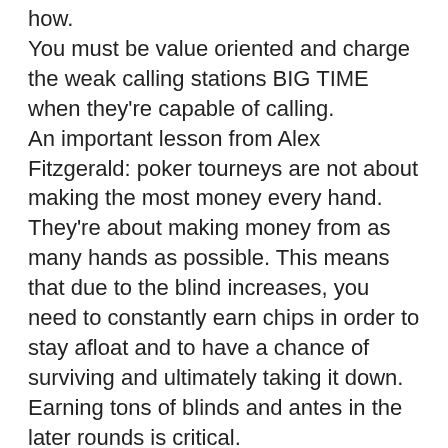how.
You must be value oriented and charge the weak calling stations BIG TIME when they're capable of calling.
An important lesson from Alex Fitzgerald: poker tourneys are not about making the most money every hand. They're about making money from as many hands as possible. This means that due to the blind increases, you need to constantly earn chips in order to stay afloat and to have a chance of surviving and ultimately taking it down.
Earning tons of blinds and antes in the later rounds is critical.
Make sure you aren't missing opportunities to get value from your hands. Too many players bet big on the river in hopes of getting paid off with their strongest hands. This makes it easy for opponents to fold their marginal hands. Bet smaller for value on rivers and fold to big river bets yourself.